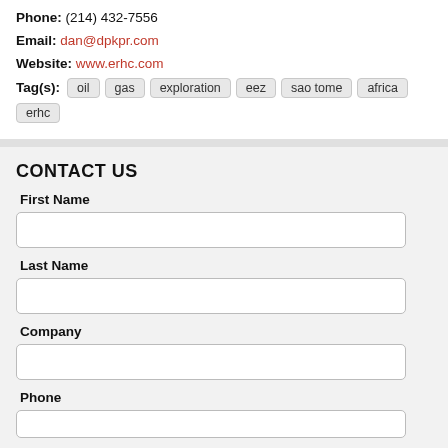Phone: (214) 432-7556
Email: dan@dpkpr.com
Website: www.erhc.com
Tag(s): oil  gas  exploration  eez  sao tome  africa  erhc
CONTACT US
First Name
Last Name
Company
Phone